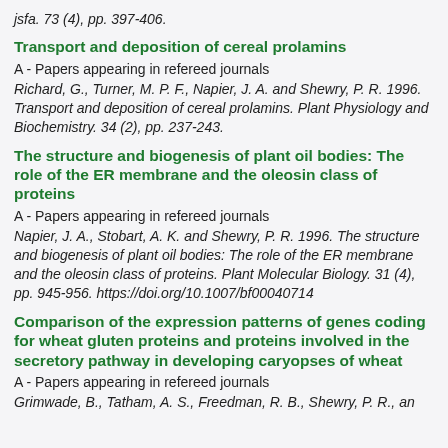jsfa. 73 (4), pp. 397-406.
Transport and deposition of cereal prolamins
A - Papers appearing in refereed journals
Richard, G., Turner, M. P. F., Napier, J. A. and Shewry, P. R. 1996. Transport and deposition of cereal prolamins. Plant Physiology and Biochemistry. 34 (2), pp. 237-243.
The structure and biogenesis of plant oil bodies: The role of the ER membrane and the oleosin class of proteins
A - Papers appearing in refereed journals
Napier, J. A., Stobart, A. K. and Shewry, P. R. 1996. The structure and biogenesis of plant oil bodies: The role of the ER membrane and the oleosin class of proteins. Plant Molecular Biology. 31 (4), pp. 945-956. https://doi.org/10.1007/bf00040714
Comparison of the expression patterns of genes coding for wheat gluten proteins and proteins involved in the secretory pathway in developing caryopses of wheat
A - Papers appearing in refereed journals
Grimwade, B., Tatham, A. S., Freedman, R. B., Shewry, P. R. an